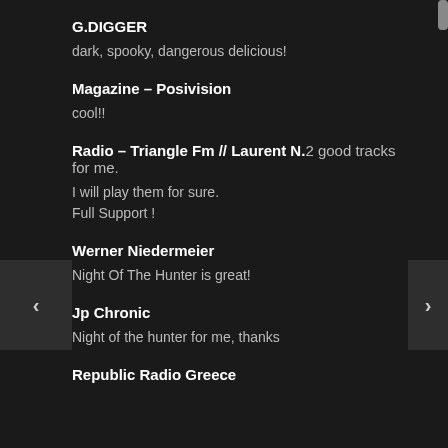G.DIGGER
dark, spooky, dangerous delicious!
Magazine – Posivision
cool!!
Radio – Triangle Fm // Laurent N.
2 good tracks for me.
I will play them for sure.
Full Support !
Werner Niedermeier
Night Of The Hunter is great!
Jp Chronic
Night of the hunter for me, thanks
Republic Radio Greece